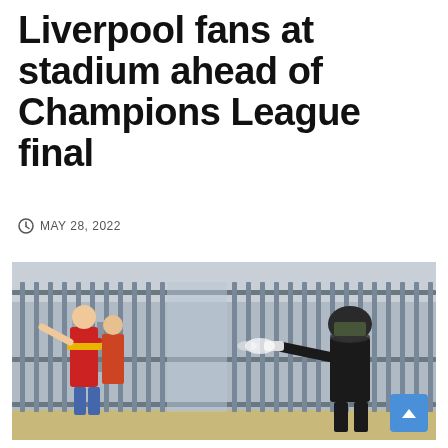Liverpool fans at stadium ahead of Champions League final
MAY 28, 2022
[Figure (photo): Photo showing Liverpool fans behind metal gate/fence bars at a stadium, with a riot police officer in black helmet and gear on the right side spraying something (pepper spray or similar) through the fence at the fans.]